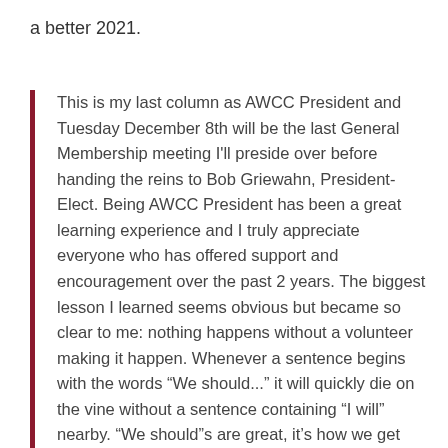a better 2021.
This is my last column as AWCC President and Tuesday December 8th will be the last General Membership meeting I'll preside over before handing the reins to Bob Griewahn, President-Elect. Being AWCC President has been a great learning experience and I truly appreciate everyone who has offered support and encouragement over the past 2 years. The biggest lesson I learned seems obvious but became so clear to me: nothing happens without a volunteer making it happen. Whenever a sentence begins with the words “We should...” it will quickly die on the vine without a sentence containing “I will” nearby. “We should”s are great, it's how we get new ideas, but I encourage everyone to be aware and thoughtful about